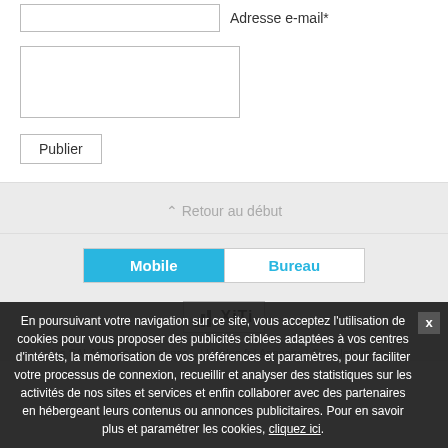Adresse e-mail*
Publier
⌃ Retour au début
Mobile | Bureau
[Figure (logo): XiTi analytics logo with bar chart icon]
les SALAFIS ne suivent pas... | Unblog.fr | Annuaire | Signalez un abus
En poursuivant votre navigation sur ce site, vous acceptez l'utilisation de cookies pour vous proposer des publicités ciblées adaptées à vos centres d'intérêts, la mémorisation de vos préférences et paramètres, pour faciliter votre processus de connexion, recueillir et analyser des statistiques sur les activités de nos sites et services et enfin collaborer avec des partenaires en hébergeant leurs contenus ou annonces publicitaires. Pour en savoir plus et paramétrer les cookies, cliquez ici.